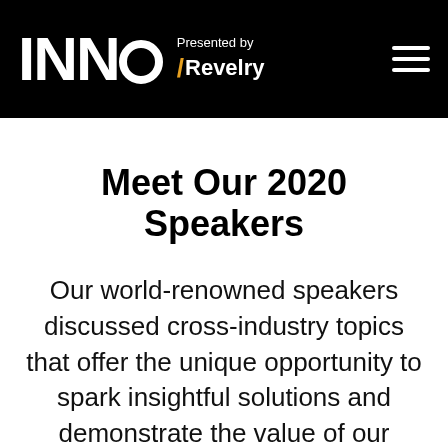INNO Presented by /Revelry
Meet Our 2020 Speakers
Our world-renowned speakers discussed cross-industry topics that offer the unique opportunity to spark insightful solutions and demonstrate the value of our